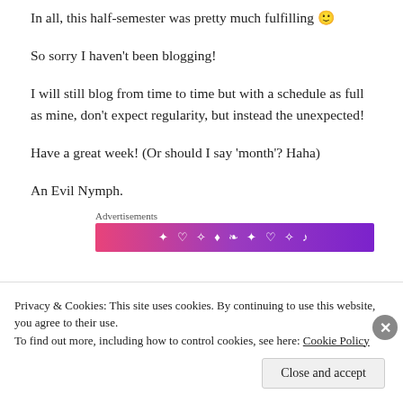In all, this half-semester was pretty much fulfilling 🙂
So sorry I haven't been blogging!
I will still blog from time to time but with a schedule as full as mine, don't expect regularity, but instead the unexpected!
Have a great week! (Or should I say 'month'? Haha)
An Evil Nymph.
Advertisements
[Figure (illustration): Colorful advertisement banner with gradient from pink to purple, decorated with small white icons (hearts, music notes, stars, leaves)]
Privacy & Cookies: This site uses cookies. By continuing to use this website, you agree to their use.
To find out more, including how to control cookies, see here: Cookie Policy
Close and accept